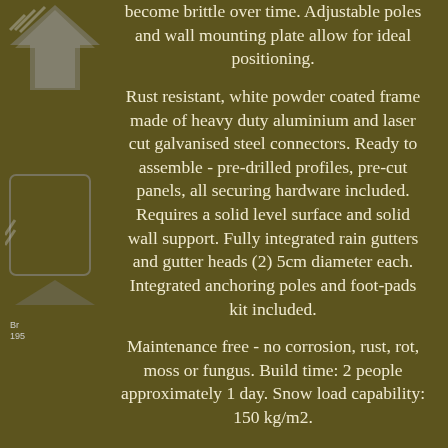become brittle over time. Adjustable poles and wall mounting plate allow for ideal positioning.
Rust resistant, white powder coated frame made of heavy duty aluminium and laser cut galvanised steel connectors. Ready to assemble - pre-drilled profiles, pre-cut panels, all securing hardware included. Requires a solid level surface and solid wall support. Fully integrated rain gutters and gutter heads (2) 5cm diameter each. Integrated anchoring poles and foot-pads kit included.
Maintenance free - no corrosion, rust, rot, moss or fungus. Build time: 2 people approximately 1 day. Snow load capability: 150 kg/m2.
Wind load: Tested up to 120 km/h. Feria 3x6.1:Dimensions: H 210-305 x W 610 x D 295 cmCovering area: 18m2. Dimensions: H 210-305 x W 610 x D 295 cm. Once the order is processed, we may not be able to cancel all orders but will be happy to accept any return (if